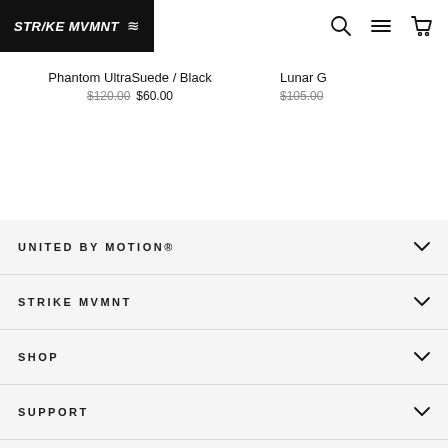STRIKE MVMNT ≈
Phantom UltraSuede / Black $120.00 $60.00
Lunar G $105.00
UNITED BY MOTION®
STRIKE MVMNT
SHOP
SUPPORT
GET ON THE LIST